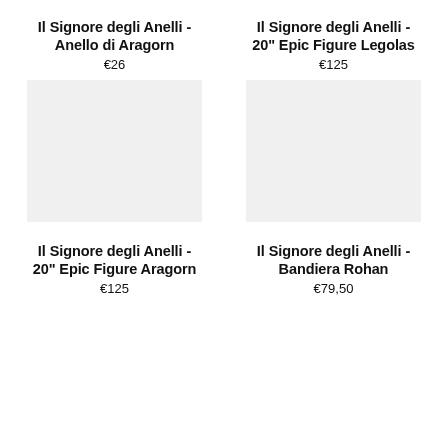Il Signore degli Anelli - Anello di Aragorn
€26
[Figure (photo): Product image placeholder (light gray rectangle) for Il Signore degli Anelli - Anello di Aragorn]
Il Signore degli Anelli - 20" Epic Figure Legolas
€125
[Figure (photo): Product image placeholder (light gray rectangle) for Il Signore degli Anelli - 20" Epic Figure Legolas]
Il Signore degli Anelli - 20" Epic Figure Aragorn
€125
Il Signore degli Anelli - Bandiera Rohan
€79,50